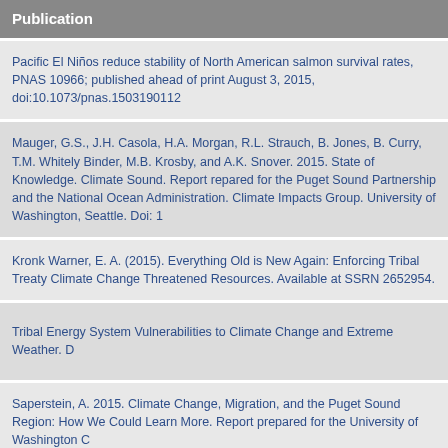Publication
Pacific El Niños reduce stability of North American salmon survival rates, PNAS 10966; published ahead of print August 3, 2015, doi:10.1073/pnas.1503190112
Mauger, G.S., J.H. Casola, H.A. Morgan, R.L. Strauch, B. Jones, B. Curry, T.M. Whitely Binder, M.B. Krosby, and A.K. Snover. 2015. State of Knowledge. Climate Impacts Group. University of Washington, Seattle. Doi: 1
Kronk Warner, E. A. (2015). Everything Old is New Again: Enforcing Tribal Treaty Climate Change Threatened Resources. Available at SSRN 2652954.
Tribal Energy System Vulnerabilities to Climate Change and Extreme Weather. D
Saperstein, A. 2015. Climate Change, Migration, and the Puget Sound Region: How We Could Learn More. Report prepared for the University of Washington C